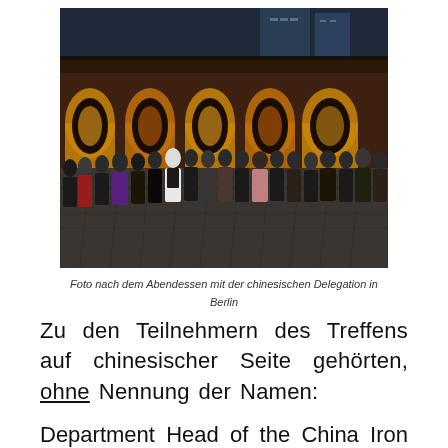[Figure (photo): Group photo of approximately 20 people standing outdoors at night in front of an illuminated brick building with arches, taken after dinner with the Chinese Delegation in Berlin.]
Foto nach dem Abendessen mit der chinesischen Delegation in Berlin
Zu den Teilnehmern des Treffens auf chinesischer Seite gehörten, ohne Nennung der Namen:
Department Head of the China Iron &